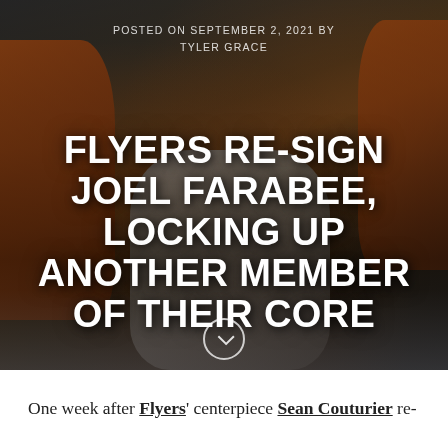[Figure (photo): Philadelphia Flyers hockey players in orange jerseys on ice, one player sliding/falling on the ice during a game]
POSTED ON SEPTEMBER 2, 2021 BY
TYLER GRACE
FLYERS RE-SIGN JOEL FARABEE, LOCKING UP ANOTHER MEMBER OF THEIR CORE
One week after Flyers' centerpiece Sean Couturier re-